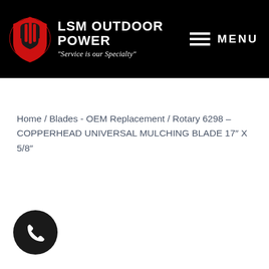[Figure (logo): LSM Outdoor Power logo with red gear/shield icon and text 'LSM OUTDOOR POWER' with tagline 'Service is our Specialty']
MENU
Home / Blades - OEM Replacement / Rotary 6298 – COPPERHEAD UNIVERSAL MULCHING BLADE 17″ X 5/8″
[Figure (illustration): Phone call button - black circular icon with white telephone handset symbol]